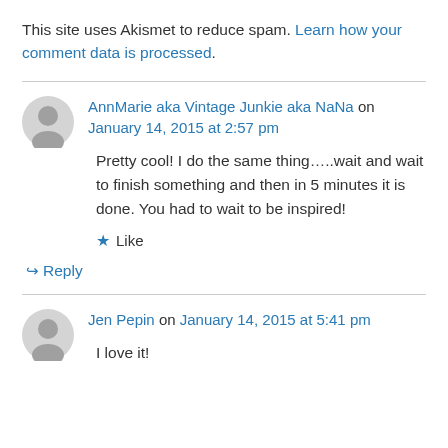This site uses Akismet to reduce spam. Learn how your comment data is processed.
AnnMarie aka Vintage Junkie aka NaNa on January 14, 2015 at 2:57 pm
Pretty cool! I do the same thing…..wait and wait to finish something and then in 5 minutes it is done. You had to wait to be inspired!
Like
Reply
Jen Pepin on January 14, 2015 at 5:41 pm
I love it!